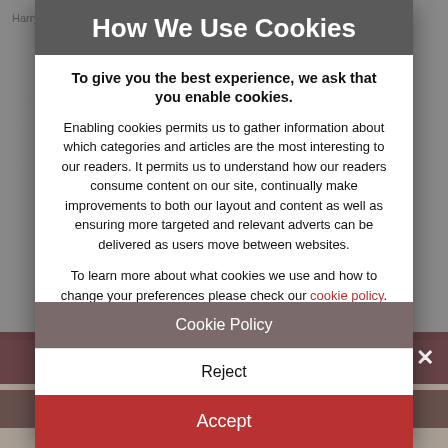How We Use Cookies
To give you the best experience, we ask that you enable cookies.
Enabling cookies permits us to gather information about which categories and articles are the most interesting to our readers. It permits us to understand how our readers consume content on our site, continually make improvements to both our layout and content as well as ensuring more targeted and relevant adverts can be delivered as users move between websites.
To learn more about what cookies we use and how to change your preferences please check our cookie policy.
Cookie Policy
Reject
Accept
Subscribe to Energy Live News!
Click here to receive energy news for free